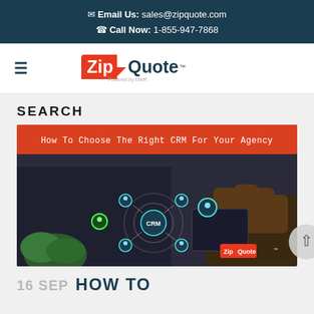Email Us: sales@zipquote.com
Call Now: 1-855-947-7868
[Figure (logo): ZipQuote logo with hamburger menu icon]
SEARCH
[Figure (illustration): Blog post thumbnail image showing CRM network diagram with text 'How To Choose The Right CRM For Your Agency' on red banner, and ZipQuote logo watermark]
16 SEP  HOW TO